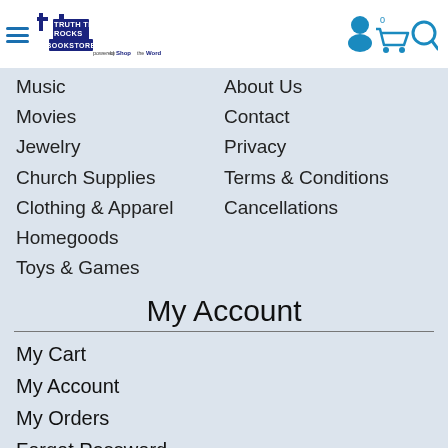Truth That Rocks Bookstore — powered by ShopByWord
Music
Movies
Jewelry
Church Supplies
Clothing & Apparel
Homegoods
Toys & Games
About Us
Contact
Privacy
Terms & Conditions
Cancellations
My Account
My Cart
My Account
My Orders
Forgot Password
Create Account
Support